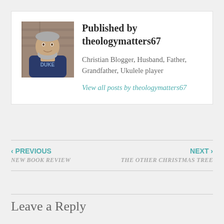[Figure (photo): Profile photo of a man with gray beard wearing a dark blue hoodie, sitting in front of a brick wall background]
Published by theologymatters67
Christian Blogger, Husband, Father, Grandfather, Ukulele player
View all posts by theologymatters67
‹ PREVIOUS
NEW BOOK REVIEW
NEXT ›
THE OTHER CHRISTMAS TREE
Leave a Reply